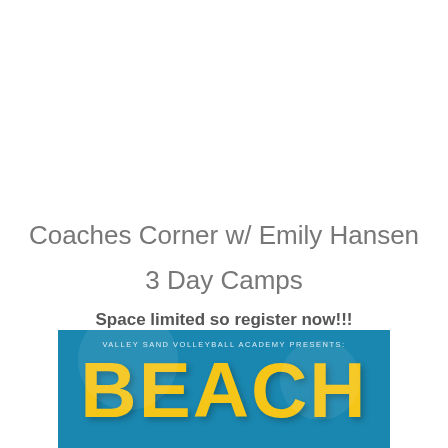Coaches Corner w/ Emily Hansen
3 Day Camps
Space limited so register now!!!
[Figure (illustration): Valley Sand Volleyball Academy beach volleyball camp promotional banner with blue background, text 'VALLEY SAND VOLLEYBALL ACADEMY PRESENTS:' and large yellow bold text 'BEACH']